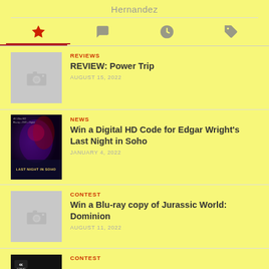Hernandez
[Figure (screenshot): Tab navigation icons: star (active/red), speech bubble, clock, tag]
REVIEWS | REVIEW: Power Trip | AUGUST 15, 2022
NEWS | Win a Digital HD Code for Edgar Wright's Last Night in Soho | JANUARY 4, 2022
CONTEST | Win a Blu-ray copy of Jurassic World: Dominion | AUGUST 11, 2022
CONTEST (partial, cut off)